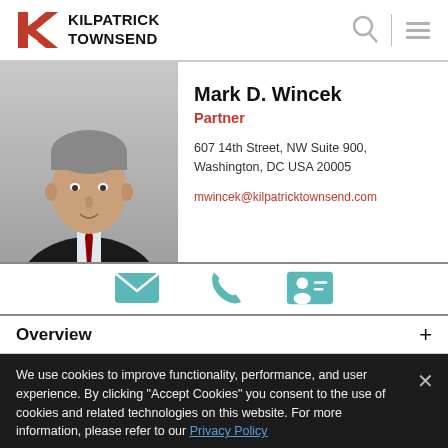KILPATRICK TOWNSEND
[Figure (photo): Professional headshot of Mark D. Wincek, a man in a dark suit with a red tie, grey hair, white shirt, against a white/grey background.]
Mark D. Wincek
Partner
607 14th Street, NW Suite 900, Washington, DC USA 20005
mwincek@kilpatricktownsend.com
[Figure (infographic): Three teal icons: envelope (email), phone handset, and contact card/vCard icons.]
Overview
We use cookies to improve functionality, performance, and user experience. By clicking "Accept Cookies" you consent to the use of cookies and related technologies on this website. For more information, please refer to our Privacy Policy